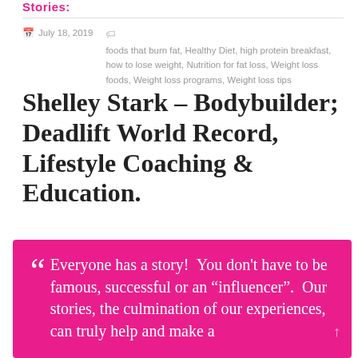Stories:
July 18, 2019   foods that burn fat, Healthy Diet, high protein breakfast, how to lose weight, Nutrition for fat loss, Weight loss foods, Weight loss programs, Weight loss tips
Shelley Stark – Bodybuilder; Deadlift World Record, Lifestyle Coaching & Education.
Everyone has a story!  You don't have to be famous, successful or an “influencer”.  Our stories, the culmination of our experiences, can truly help and make a